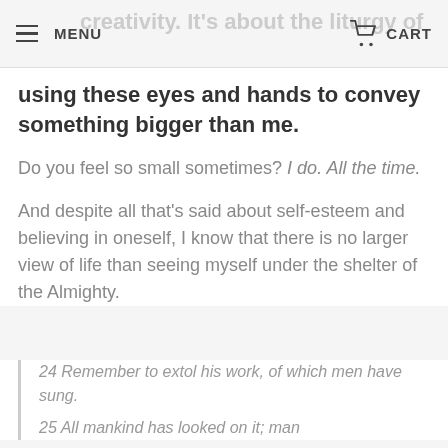creativity. It's about the liturgy of
using these eyes and hands to convey something bigger than me.
Do you feel so small sometimes? I do. All the time.
And despite all that's said about self-esteem and believing in oneself, I know that there is no larger view of life than seeing myself under the shelter of the Almighty.
24 Remember to extol his work, of which men have sung.
25 All mankind has looked on it; man